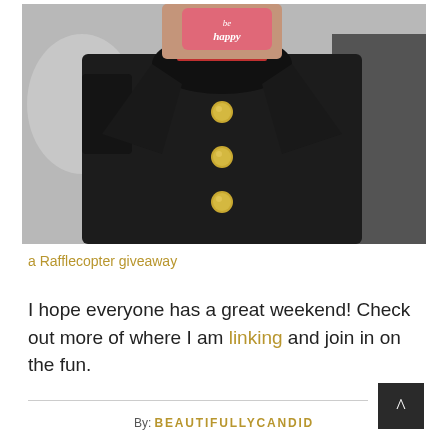[Figure (photo): Person wearing a black coat with gold buttons, holding up a pink card that reads 'be happy']
a Rafflecopter giveaway
I hope everyone has a great weekend! Check out more of where I am linking and join in on the fun.
By: BEAUTIFULLYCANDID